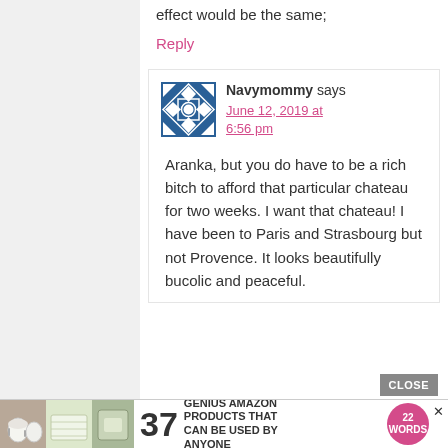effect would be the same;
Reply
[Figure (logo): Blue and white quilt-pattern style avatar icon]
Navymommy says
June 12, 2019 at 6:56 pm
Aranka, but you do have to be a rich bitch to afford that particular chateau for two weeks. I want that chateau! I have been to Paris and Strasbourg but not Provence. It looks beautifully bucolic and peaceful.
[Figure (infographic): Advertisement banner: 37 Genius Amazon Products That Can Be Used By Anyone, with 22Words badge and product photos]
CLOSE